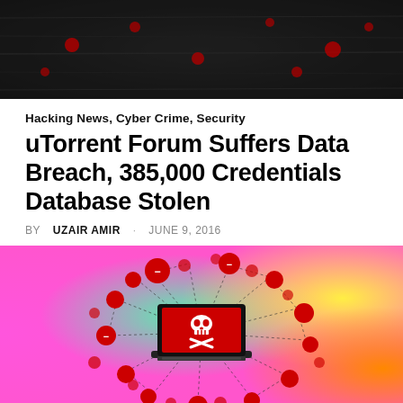[Figure (photo): Dark textured banner image with red circular elements on a dark/grey background, partial view at top of page]
Hacking News, Cyber Crime, Security
uTorrent Forum Suffers Data Breach, 385,000 Credentials Database Stolen
BY UZAIR AMIR · JUNE 9, 2016
[Figure (illustration): Colorful rainbow gradient background (pink, green, yellow, orange) with a black laptop in the center featuring a red screen with a white skull and crossbones icon. Red circles of various sizes connected by dotted lines radiate outward from the laptop, suggesting a network breach or malware spread concept.]